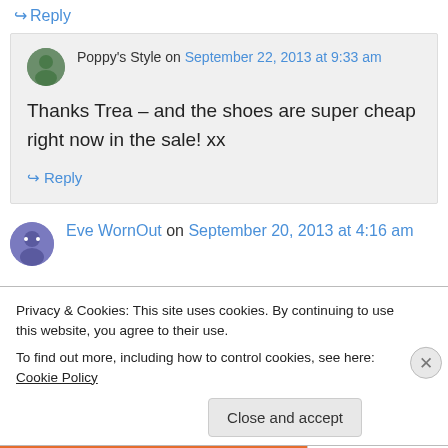↳ Reply
Poppy's Style on September 22, 2013 at 9:33 am
Thanks Trea – and the shoes are super cheap right now in the sale! xx
↳ Reply
Eve WornOut on September 20, 2013 at 4:16 am
Privacy & Cookies: This site uses cookies. By continuing to use this website, you agree to their use. To find out more, including how to control cookies, see here: Cookie Policy
Close and accept